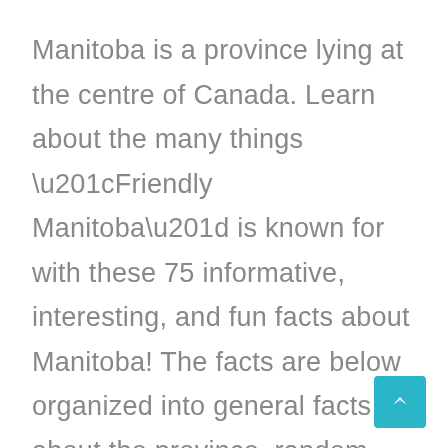Manitoba is a province lying at the centre of Canada. Learn about the many things “Friendly Manitoba” is known for with these 75 informative, interesting, and fun facts about Manitoba! The facts are below organized into general facts about the province, random interesting facts, and finally some facts about Manitoba history. General Manitoba Facts Manitoba is the easternmost province of … Read More